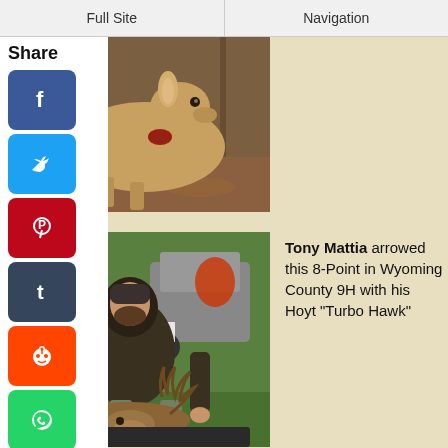Full Site | Navigation
[Figure (photo): Dead whitetail deer on forest floor with autumn leaves]
Share
[Figure (photo): Hunter sitting with harvested 8-point buck, holding antlers, outdoors on grass]
Tony Mattia arrowed this 8-Point in Wyoming County 9H with his Hoyt "Turbo Hawk"